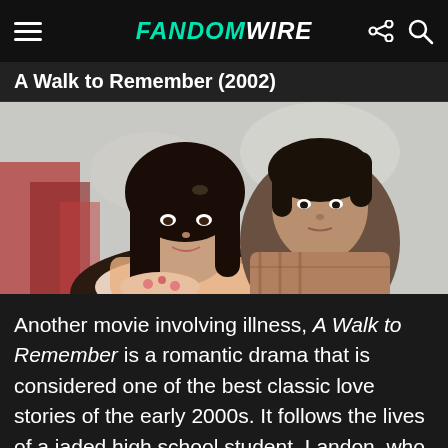FandomWire
A Walk to Remember (2002)
[Figure (photo): Two young actors from A Walk to Remember (2002) — a young woman with long dark hair in the foreground and a young man behind her, both looking at the camera, with a blurred outdoor background.]
Another movie involving illness, A Walk to Remember is a romantic drama that is considered one of the best classic love stories of the early 2000s. It follows the lives of a jaded high school student, Landon, who